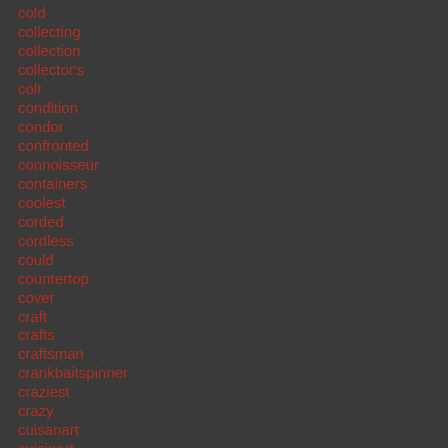cold
collecting
collection
collector's
colt
condition
condor
confronted
connoisseur
containers
coolest
corded
cordless
could
countertop
cover
craft
crafts
craftsman
crankbaitspinner
craziest
crazy
cuisanart
cuisinart
culinary
curio
custom